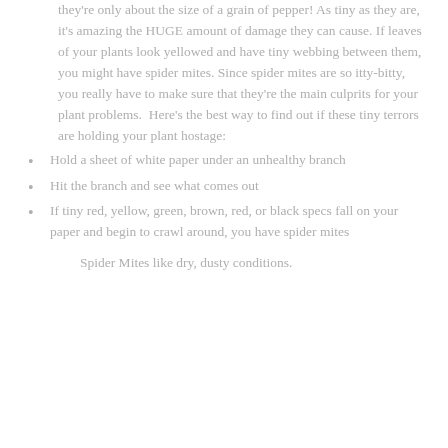they're only about the size of a grain of pepper! As tiny as they are, it's amazing the HUGE amount of damage they can cause. If leaves of your plants look yellowed and have tiny webbing between them, you might have spider mites. Since spider mites are so itty-bitty, you really have to make sure that they're the main culprits for your plant problems. Here's the best way to find out if these tiny terrors are holding your plant hostage:
Hold a sheet of white paper under an unhealthy branch
Hit the branch and see what comes out
If tiny red, yellow, green, brown, red, or black specs fall on your paper and begin to crawl around, you have spider mites
Spider Mites like dry, dusty conditions.